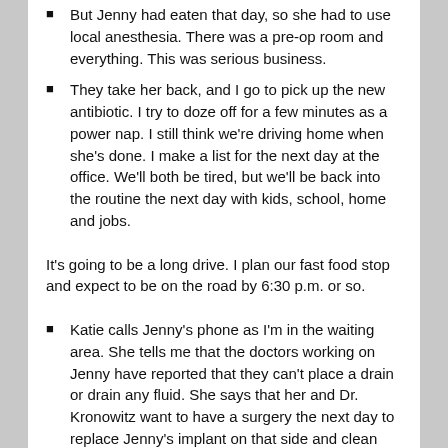But Jenny had eaten that day, so she had to use local anesthesia. There was a pre-op room and everything. This was serious business.
They take her back, and I go to pick up the new antibiotic. I try to doze off for a few minutes as a power nap. I still think we’re driving home when she’s done. I make a list for the next day at the office. We’ll both be tired, but we’ll be back into the routine the next day with kids, school, home and jobs.
It’s going to be a long drive. I plan our fast food stop and expect to be on the road by 6:30 p.m. or so.
Katie calls Jenny’s phone as I’m in the waiting area. She tells me that the doctors working on Jenny have reported that they can’t place a drain or drain any fluid. She says that her and Dr. Kronowitz want to have a surgery the next day to replace Jenny’s implant on that side and clean out fluid that must be behind the implant. We need to see anesthesia the next morning and wait to hear for when time opens